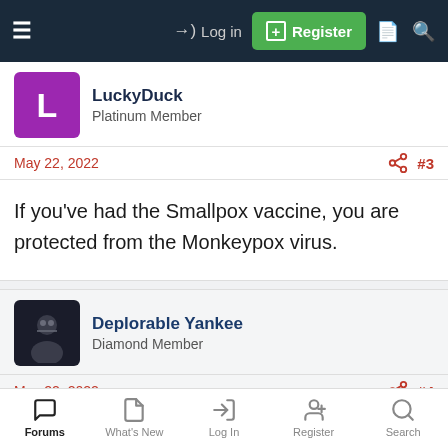Log in | Register
LuckyDuck
Platinum Member
May 22, 2022  #3
If you've had the Smallpox vaccine, you are protected from the Monkeypox virus.
Deplorable Yankee
Diamond Member
May 22, 2022  #4
Smllpx smltn in Grmn by rair2 - 3speak.tv
Forums | What's New | Log In | Register | Search